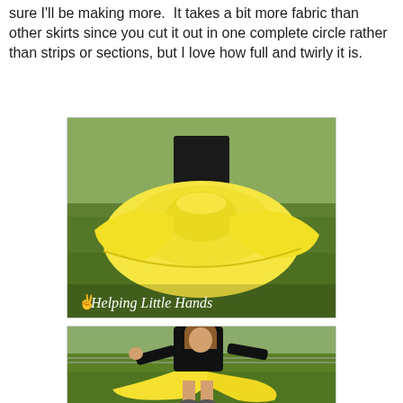sure I'll be making more.  It takes a bit more fabric than other skirts since you cut it out in one complete circle rather than strips or sections, but I love how full and twirly it is.
[Figure (photo): A girl wearing a black top and bright yellow full circle skirt spinning outdoors on grass, skirt flaring wide. Watermark reads: hand icon Helping Little Hands]
[Figure (photo): A girl wearing a black t-shirt and yellow circle skirt running or twirling on a grass field outdoors, skirt flowing to the side.]